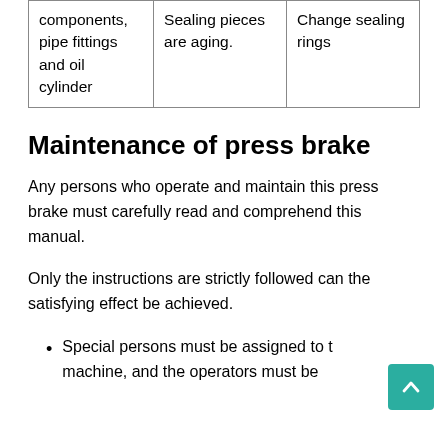| components, pipe fittings and oil cylinder | Sealing pieces are aging. | Change sealing rings |
Maintenance of press brake
Any persons who operate and maintain this press brake must carefully read and comprehend this manual.
Only the instructions are strictly followed can the satisfying effect be achieved.
Special persons must be assigned to the machine, and the operators must be